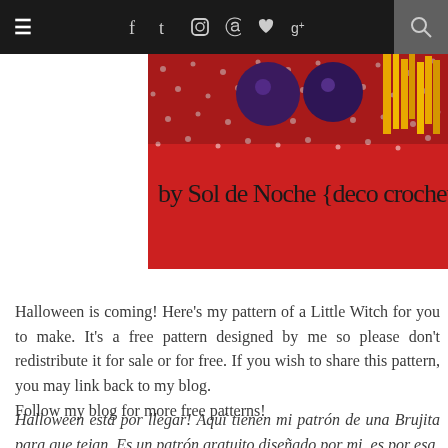≡  f  t  ☷  ℗  ♥  g+  🔍
[Figure (photo): Red polka-dot background with purple spheres and yellow yarn tassel decorations. Text overlay reads: by Sol de Noche {deco crochet}]
Halloween is coming! Here's my pattern of a Little Witch for you to make. It's a free pattern designed by me so please don't redistribute it for sale or for free. If you wish to share this pattern, you may link back to my blog.
Follow my blog for more free patterns!
Halloween está por llegar! Aquí tienen mi patrón de una Brujita para que tejan. Es un patrón gratuito diseñado por mi, es por esa